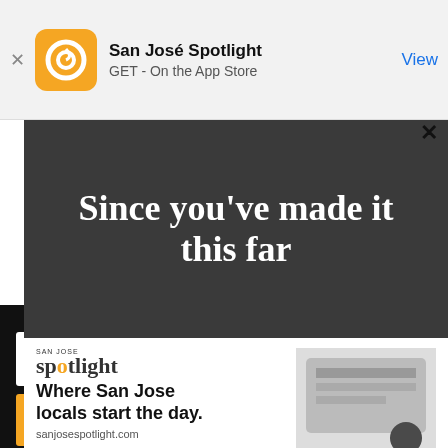[Figure (screenshot): App Store banner showing San José Spotlight app with icon, name, GET - On the App Store text, and View button]
Since you've made it this far
[Figure (logo): San Jose Spotlight logo with tagline: Where San Jose locals start the day. sanjosespotlight.com]
EMAIL ADDRESS
SUBSCRIBE
Thanks, I'm not interested or already a subscriber